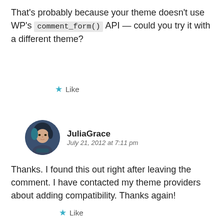That's probably because your theme doesn't use WP's comment_form() API — could you try it with a different theme?
Like
JuliaGrace
July 21, 2012 at 7:11 pm
Thanks. I found this out right after leaving the comment. I have contacted my theme providers about adding compatibility. Thanks again!
Like